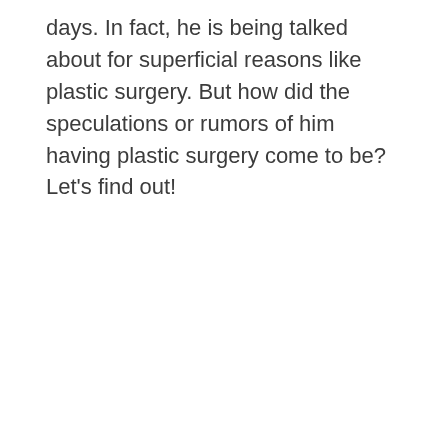days. In fact, he is being talked about for superficial reasons like plastic surgery. But how did the speculations or rumors of him having plastic surgery come to be? Let's find out!